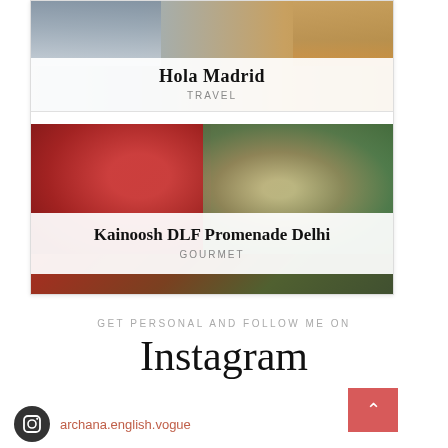[Figure (photo): Travel blog card for Hola Madrid with a city photo background and white overlay showing title and category]
Hola Madrid
TRAVEL
[Figure (photo): Gourmet blog card for Kainoosh DLF Promenade Delhi with food/drinks photo background and white overlay showing title and category]
Kainoosh DLF Promenade Delhi
GOURMET
GET PERSONAL AND FOLLOW ME ON
Instagram
archana.english.vogue